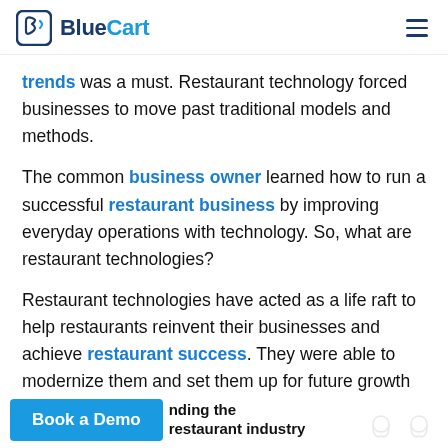BlueCart
trends was a must. Restaurant technology forced businesses to move past traditional models and methods.
The common business owner learned how to run a successful restaurant business by improving everyday operations with technology. So, what are restaurant technologies?
Restaurant technologies have acted as a life raft to help restaurants reinvent their businesses and achieve restaurant success. They were able to modernize them and set them up for future growth and success. Let’s dive a bit deeper.
Book a Demo
nding the restaurant industry